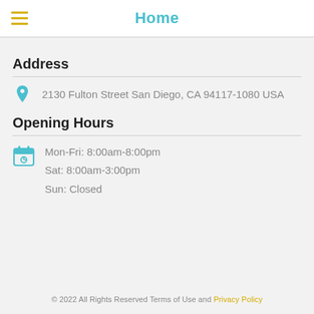Home
Address
2130 Fulton Street San Diego, CA 94117-1080 USA
Opening Hours
Mon-Fri: 8:00am-8:00pm
Sat: 8:00am-3:00pm
Sun: Closed
© 2022 All Rights Reserved Terms of Use and Privacy Policy